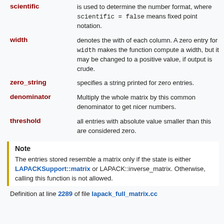scientific — is used to determine the number format, where scientific = false means fixed point notation.
width — denotes the with of each column. A zero entry for width makes the function compute a width, but it may be changed to a positive value, if output is crude.
zero_string — specifies a string printed for zero entries.
denominator — Multiply the whole matrix by this common denominator to get nicer numbers.
threshold — all entries with absolute value smaller than this are considered zero.
Note
The entries stored resemble a matrix only if the state is either LAPACKSupport::matrix or LAPACK::inverse_matrix. Otherwise, calling this function is not allowed.
Definition at line 2289 of file lapack_full_matrix.cc